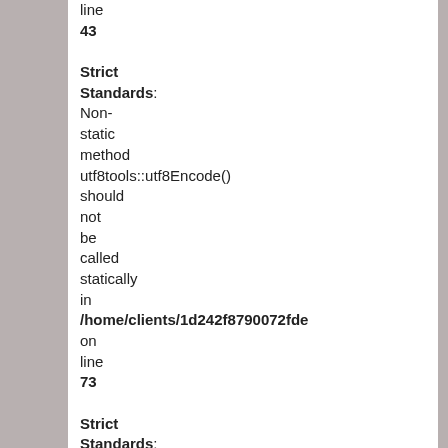line
43

Strict Standards: Non-static method utf8tools::utf8Encode() should not be called statically in /home/clients/1d242f8790072fde on line
73

Strict Standards: Non-static method utf8tools::seemsUtf8() should not